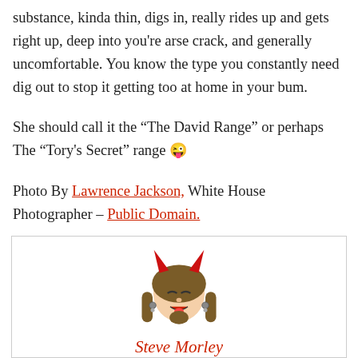substance, kinda thin, digs in, really rides up and gets right up, deep into you're arse crack, and generally uncomfortable. You know the type you constantly need dig out to stop it getting too at home in your bum.
She should call it the “The David Range” or perhaps The “Tory's Secret” range 😜
Photo By Lawrence Jackson, White House Photographer – Public Domain.
[Figure (illustration): Author avatar: cartoon devil face with horns, long hair in pigtails, beard, earrings, red tongue out]
Steve Morley